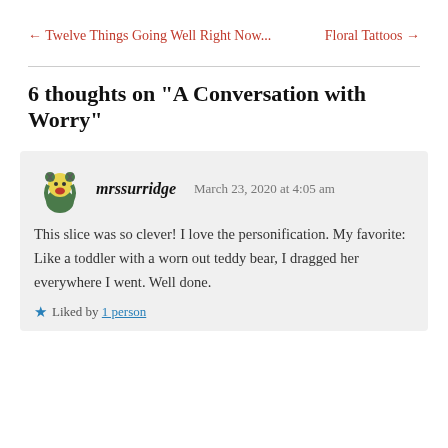← Twelve Things Going Well Right Now...    Floral Tattoos →
6 thoughts on "A Conversation with Worry"
mrssurridge  March 23, 2020 at 4:05 am
This slice was so clever! I love the personification. My favorite: Like a toddler with a worn out teddy bear, I dragged her everywhere I went. Well done.
★ Liked by 1 person